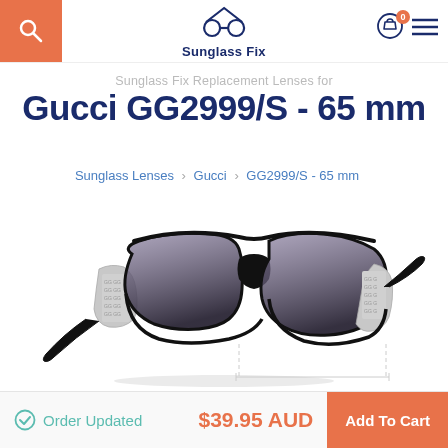[Figure (logo): Sunglass Fix logo with two circles (glasses) and house-like roof shape, dark navy color, text 'Sunglass Fix' below]
Sunglass Fix Replacement Lenses for
Gucci GG2999/S - 65 mm
Sunglass Lenses › Gucci › GG2999/S - 65 mm
[Figure (photo): Gucci GG2999/S sunglasses - black oversized frames with silver GG monogram pattern on temples, dark gradient lenses, viewed from a three-quarter angle. Measurement lines visible below indicating lens dimensions.]
Order Updated
$39.95 AUD
Add To Cart